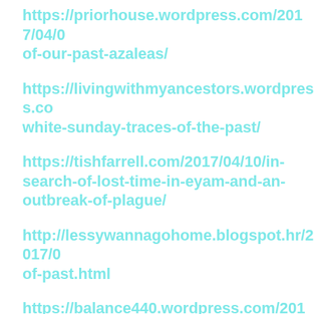https://priorhouse.wordpress.com/2017/04/0…of-our-past-azaleas/
https://livingwithmyancestors.wordpress.co…white-sunday-traces-of-the-past/
https://tishfarrell.com/2017/04/10/in-search-of-lost-time-in-eyam-and-an-outbreak-of-plague/
http://lessywannagohome.blogspot.hr/2017/0…of-past.html
https://balance440.wordpress.com/2017/04/1…white-sunday-traces-of-the-past/
https://postcardsedge.org/2017/04/10/black-and-white-sunday-traces-of-the-past-the-gate-of-magnificence